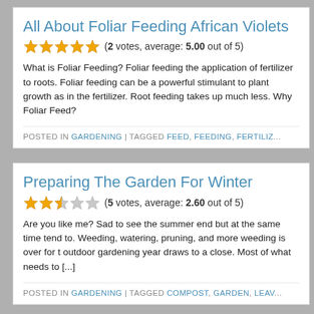All About Foliar Feeding African Violets
(2 votes, average: 5.00 out of 5)
What is Foliar Feeding? Foliar feeding the application of fertilizer to roots. Foliar feeding can be a powerful stimulant to plant growth as in the fertilizer. Root feeding takes up much less. Why Foliar Feed?
POSTED IN GARDENING | TAGGED FEED, FEEDING, FERTILIZ...
Preparing The Garden For Winter
(5 votes, average: 2.60 out of 5)
Are you like me? Sad to see the summer end but at the same time tend to. Weeding, watering, pruning, and more weeding is over for t outdoor gardening year draws to a close. Most of what needs to [...]
POSTED IN GARDENING | TAGGED COMPOST, GARDEN, LEAV...